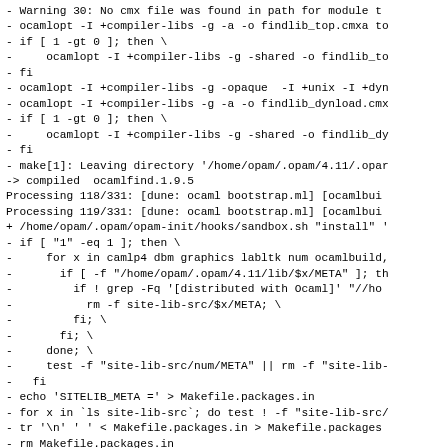- Warning 30: No cmx file was found in path for module t
- ocamlopt -I +compiler-libs -g -a -o findlib_top.cmxa to
- if [ 1 -gt 0 ]; then \
-     ocamlopt -I +compiler-libs -g -shared -o findlib_to
- fi
- ocamlopt -I +compiler-libs -g -opaque  -I +unix -I +dyn
- ocamlopt -I +compiler-libs -g -a -o findlib_dynload.cmx
- if [ 1 -gt 0 ]; then \
-     ocamlopt -I +compiler-libs -g -shared -o findlib_dy
- fi
- make[1]: Leaving directory '/home/opam/.opam/4.11/.opar
-> compiled  ocamlfind.1.9.5
Processing 118/331: [dune: ocaml bootstrap.ml] [ocamlbui
Processing 119/331: [dune: ocaml bootstrap.ml] [ocamlbui
+ /home/opam/.opam/opam-init/hooks/sandbox.sh "install" '
- if [ "1" -eq 1 ]; then \
-     for x in camlp4 dbm graphics labltk num ocamlbuild,
-       if [ -f "/home/opam/.opam/4.11/lib/$x/META" ]; th
-         if ! grep -Fq '[distributed with Ocaml]' "//ho
-           rm -f site-lib-src/$x/META; \
-         fi; \
-       fi; \
-     done; \
-     test -f "site-lib-src/num/META" || rm -f "site-lib-
-   fi
- echo 'SITELIB_META =' > Makefile.packages.in
- for x in `ls site-lib-src`; do test ! -f "site-lib-src/
- tr '\n' ' ' < Makefile.packages.in > Makefile.packages
- rm Makefile.packages.in
- install -d "/home/opam/.opam/4.11/bin"
- install -d "/home/opam/.opam/4.11/man"